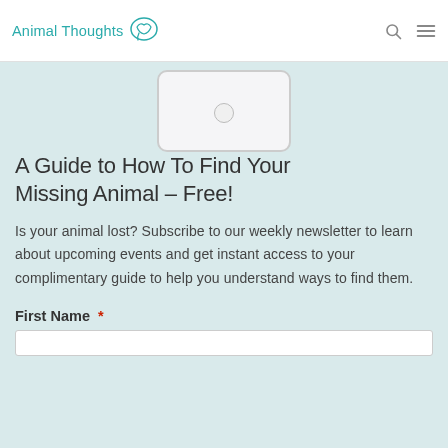Animal Thoughts
[Figure (illustration): Partial view of a smartphone/tablet mockup showing bottom edge with home button, on light teal background]
A Guide to How To Find Your Missing Animal – Free!
Is your animal lost? Subscribe to our weekly newsletter to learn about upcoming events and get instant access to your complimentary guide to help you understand ways to find them.
First Name *